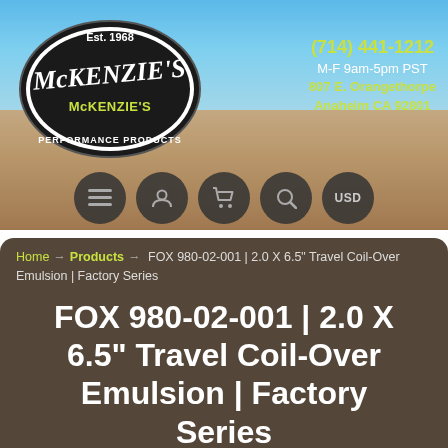[Figure (logo): McKenzie's Performance Products logo - oval black and white logo with Est. 1968 text and stylized font]
(714) 441-1212
M-F 9am-5pm PST
807 E. Orangethorpe
Anaheim CA 92801
[Figure (screenshot): Navigation bar with dark circular icon buttons: menu (hamburger), user, cart, search, and USD currency selector]
Home → Products → FOX 980-02-001 | 2.0 X 6.5" Travel Coil-Over Emulsion | Factory Series
FOX 980-02-001 | 2.0 X 6.5" Travel Coil-Over Emulsion | Factory Series